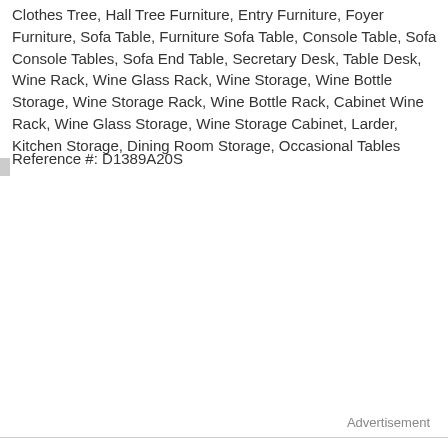Clothes Tree, Hall Tree Furniture, Entry Furniture, Foyer Furniture, Sofa Table, Furniture Sofa Table, Console Table, Sofa Console Tables, Sofa End Table, Secretary Desk, Table Desk, Wine Rack, Wine Glass Rack, Wine Storage, Wine Bottle Storage, Wine Storage Rack, Wine Bottle Rack, Cabinet Wine Rack, Wine Glass Storage, Wine Storage Cabinet, Larder, Kitchen Storage, Dining Room Storage, Occasional Tables
Reference #: D1389A20S
Advertisement